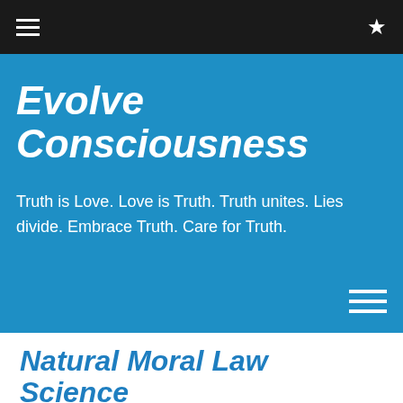☰  ★
Evolve Consciousness
Truth is Love. Love is Truth. Truth unites. Lies divide. Embrace Truth. Care for Truth.
Natural Moral Law Science
2015/02/09   Kris Nelson   Moral Law   One comment
[Figure (infographic): Partial infographic diagram showing arrows labeled with terms like Natural Law Determinism, Experience Effect, Stimulus, Output Rhetoric Wisdom, Response]